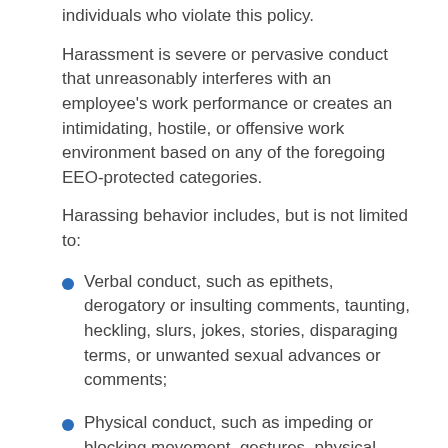individuals who violate this policy.
Harassment is severe or pervasive conduct that unreasonably interferes with an employee's work performance or creates an intimidating, hostile, or offensive work environment based on any of the foregoing EEO-protected categories.
Harassing behavior includes, but is not limited to:
Verbal conduct, such as epithets, derogatory or insulting comments, taunting, heckling, slurs, jokes, stories, disparaging terms, or unwanted sexual advances or comments;
Physical conduct, such as impeding or blocking movement, gestures, physical interference with normal work movement, unwelcome touching, or assault;